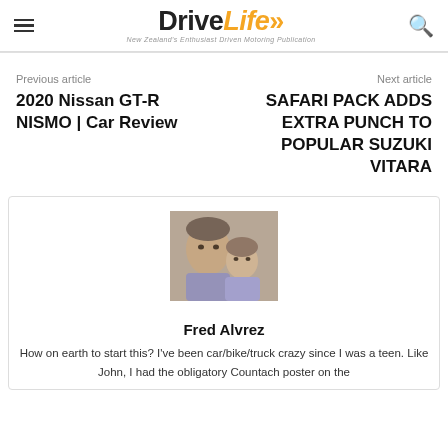DriveLife — New Zealand's Enthusiast Driven Motoring Publication
Previous article
2020 Nissan GT-R NISMO | Car Review
Next article
SAFARI PACK ADDS EXTRA PUNCH TO POPULAR SUZUKI VITARA
[Figure (photo): Photo of Fred Alvrez with a young child, both facing the camera]
Fred Alvrez
How on earth to start this? I've been car/bike/truck crazy since I was a teen. Like John, I had the obligatory Countach poster on the